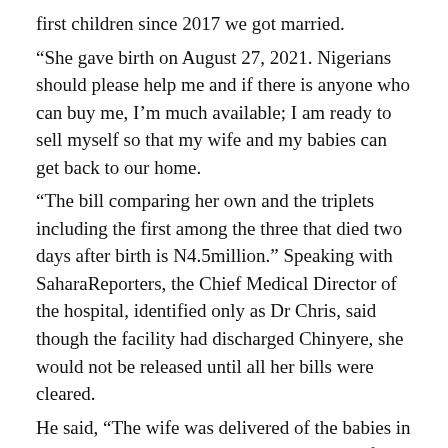first children since 2017 we got married.
“She gave birth on August 27, 2021. Nigerians should please help me and if there is anyone who can buy me, I’m much available; I am ready to sell myself so that my wife and my babies can get back to our home.
“The bill comparing her own and the triplets including the first among the three that died two days after birth is N4.5million.” Speaking with SaharaReporters, the Chief Medical Director of the hospital, identified only as Dr Chris, said though the facility had discharged Chinyere, she would not be released until all her bills were cleared.
He said, “The wife was delivered of the babies in our hospital; he (the husband) is correct. In fact, she’s still on admission; it’s almost six weeks now. The wife was delivered of prematurely; she was delivered of at 28 weeks. He has accumulated so much bill here; we already discharged her but she’s still here because she hasn’t paid her bill.